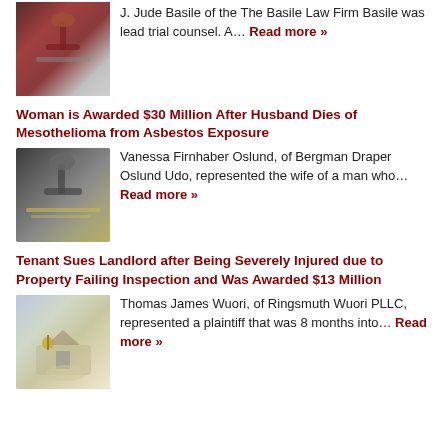[Figure (photo): Photo of a wooden gavel on a surface]
J. Jude Basile of the The Basile Law Firm Basile was lead trial counsel. A… Read more »
Woman is Awarded $30 Million After Husband Dies of Mesothelioma from Asbestos Exposure
[Figure (photo): Photo of a gavel with money/cash beneath it]
Vanessa Firnhaber Oslund, of Bergman Draper Oslund Udo, represented the wife of a man who… Read more »
Tenant Sues Landlord after Being Severely Injured due to Property Failing Inspection and Was Awarded $13 Million
[Figure (photo): Photo of a person holding house keys with a house in the background]
Thomas James Wuori, of Ringsmuth Wuori PLLC, represented a plaintiff that was 8 months into… Read more »